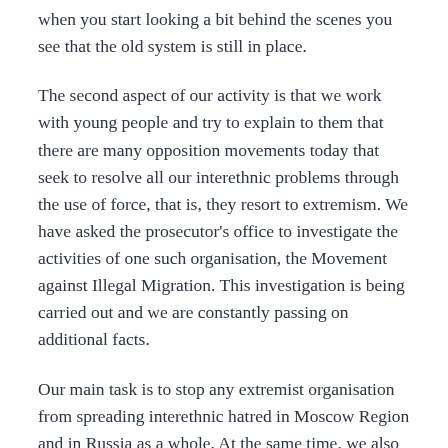when you start looking a bit behind the scenes you see that the old system is still in place.
The second aspect of our activity is that we work with young people and try to explain to them that there are many opposition movements today that seek to resolve all our interethnic problems through the use of force, that is, they resort to extremism. We have asked the prosecutor's office to investigate the activities of one such organisation, the Movement against Illegal Migration. This investigation is being carried out and we are constantly passing on additional facts.
Our main task is to stop any extremist organisation from spreading interethnic hatred in Moscow Region and in Russia as a whole. At the same time, we also address the inappropriate behaviour of all migrants from the various regions living in the Moscow Region in order to ensure that their behaviour does not create excuses for stirring up